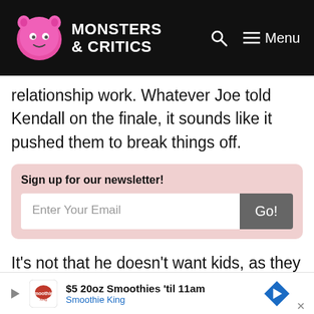Monsters & Critics
relationship work. Whatever Joe told Kendall on the finale, it sounds like it pushed them to break things off.
Sign up for our newsletter!
It's not that he doesn't want kids, as they talked about this already. Maybe he doesn't want to leave Chicago? Maybe his feelings aren't as strong as hers? Or maybe, he doesn't see a future with her beyond Bachelor in Paradise?
$5 20oz Smoothies 'til 11am Smoothie King